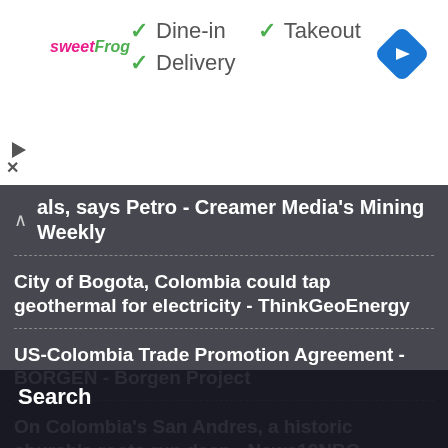[Figure (screenshot): sweetFrog logo on left side of ad banner]
✓ Dine-in  ✓ Takeout
✓ Delivery
[Figure (logo): Blue diamond navigation arrow icon top right]
als, says Petro - Creamer Media's Mining Weekly
City of Bogota, Colombia could tap geothermal for electricity - ThinkGeoEnergy
US-Colombia Trade Promotion Agreement - BORGEN - Borgen Project
On Colombia's San Andres, a historic church's roots run deep - News10NBC
Search